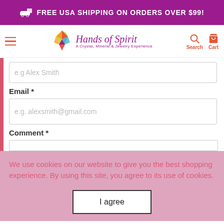FREE USA SHIPPING ON ORDERS OVER $99!
[Figure (logo): Hands of Spirit logo with geometric crystal heart shape and tagline 'A Crystal, Mineral & Jewelry Experience']
e.g Alex Smith
Email *
e.g. alexsmith@gmail.com
Comment *
We use cookies on our website to give you the best shopping experience. By using this site, you agree to its use of cookies.
I agree